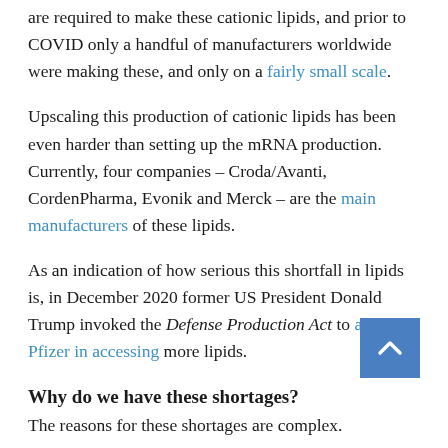are required to make these cationic lipids, and prior to COVID only a handful of manufacturers worldwide were making these, and only on a fairly small scale.
Upscaling this production of cationic lipids has been even harder than setting up the mRNA production. Currently, four companies – Croda/Avanti, CordenPharma, Evonik and Merck – are the main manufacturers of these lipids.
As an indication of how serious this shortfall in lipids is, in December 2020 former US President Donald Trump invoked the Defense Production Act to assist Pfizer in accessing more lipids.
Why do we have these shortages?
The reasons for these shortages are complex.